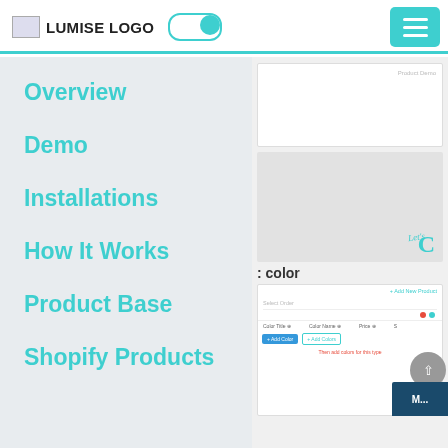[Figure (screenshot): Navigation bar with Lumise logo, toggle switch, and hamburger menu button]
Overview
Demo
Installations
How It Works
Product Base
Shopify Products
[Figure (screenshot): Right panel showing product customizer UI screenshots with color configuration panel]